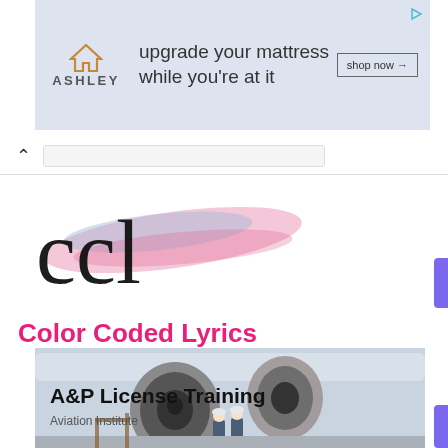[Figure (screenshot): Ashley furniture ad banner: orange house logo, 'ASHLEY' text, tagline 'upgrade your mattress while you're at it', 'shop now →' button, play icon top right]
[Figure (logo): Color Coded Lyrics logo: cursive 'ccl' script in black with pink/blue brushstroke watercolor swashes behind it]
Color Coded Lyrics
[Figure (photo): Advertisement card showing two workers in hard hats standing in front of large airplane jet engines on a tarmac]
A&P License Training
Aviation Institute